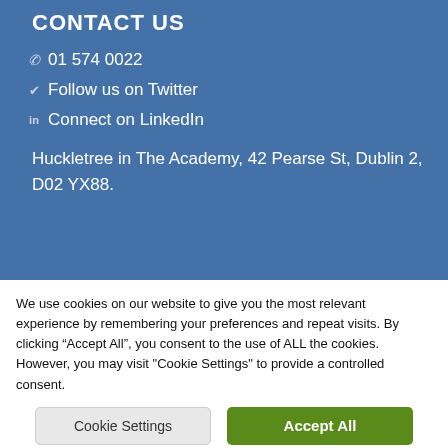CONTACT US
01 574 0022
Follow us on Twitter
Connect on LinkedIn
Huckletree in The Academy, 42 Pearse St, Dublin 2, D02 YX88.
We use cookies on our website to give you the most relevant experience by remembering your preferences and repeat visits. By clicking "Accept All", you consent to the use of ALL the cookies. However, you may visit "Cookie Settings" to provide a controlled consent.
Cookie Settings | Accept All